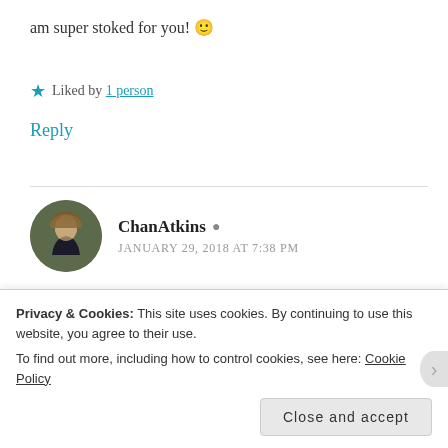am super stoked for you! 🙂
★ Liked by 1 person
Reply
ChanAtkins · JANUARY 29, 2018 AT 7:38 PM
Ah, thank you so much! 🙂
Privacy & Cookies: This site uses cookies. By continuing to use this website, you agree to their use. To find out more, including how to control cookies, see here: Cookie Policy
Close and accept